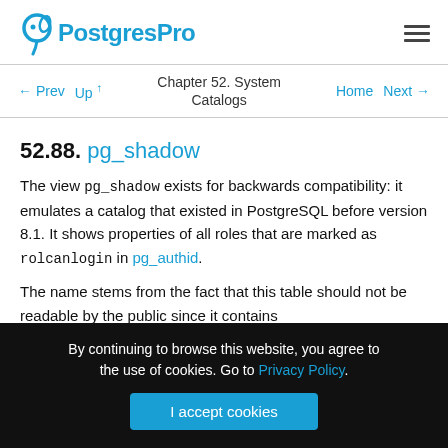PostgresPro
← Prev  Up ↑  Chapter 52. System Catalogs  Home  Next →
52.88. pg_shadow
The view pg_shadow exists for backwards compatibility: it emulates a catalog that existed in PostgreSQL before version 8.1. It shows properties of all roles that are marked as rolcanlogin in pg_authid.
The name stems from the fact that this table should not be readable by the public since it contains
By continuing to browse this website, you agree to the use of cookies. Go to Privacy Policy.